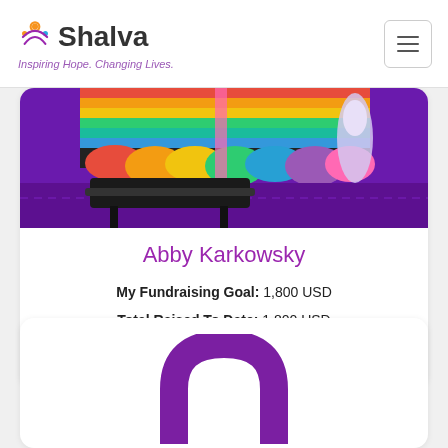Shalva — Inspiring Hope. Changing Lives.
[Figure (photo): Event photo showing colorful rainbow decorations, a DJ table, and a figure in a white gown on a purple-lit stage]
Abby Karkowsky
My Fundraising Goal: 1,800 USD
Total Raised To Date: 1,800 USD
[Figure (infographic): Green progress bar fully filled, indicating 100% of fundraising goal reached]
[Figure (logo): Shalva logo arch shape in purple, partially visible at bottom of page]